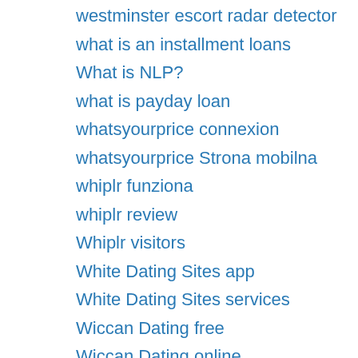westminster escort radar detector
what is an installment loans
What is NLP?
what is payday loan
whatsyourprice connexion
whatsyourprice Strona mobilna
whiplr funziona
whiplr review
Whiplr visitors
White Dating Sites app
White Dating Sites services
Wiccan Dating free
Wiccan Dating online
wichita escort near me
wichita escort sites